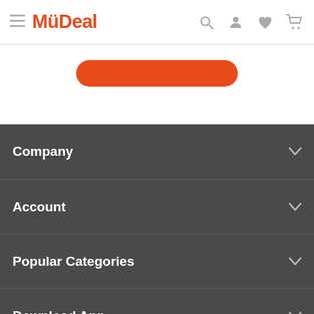MyDeal navigation header with hamburger menu, logo, search, account, wishlist, and cart icons
Company
Account
Popular Categories
Download App
[Figure (screenshot): Download on the App Store badge - black rounded rectangle with Apple logo and text]
[Figure (screenshot): Partially visible second app store / Google Play badge at bottom]